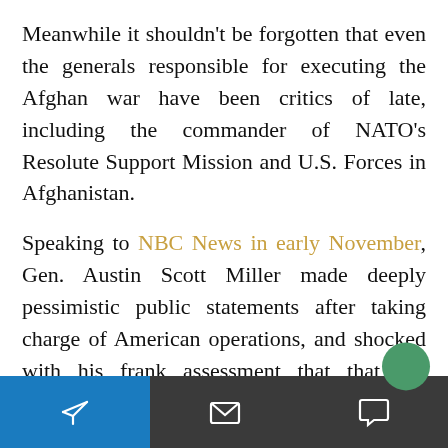Meanwhile it shouldn't be forgotten that even the generals responsible for executing the Afghan war have been critics of late, including the commander of NATO's Resolute Support Mission and U.S. Forces in Afghanistan.
Speaking to NBC News in early November, Gen. Austin Scott Miller made deeply pessimistic public statements after taking charge of American operations, and shocked with his frank assessment that that the Afghan war cannot be won militarily and peace will only be achieved through direct engagement and negotiations with the Taliban...
[Figure (screenshot): Bottom navigation bar with blue section on left containing paper airplane/send icon, and dark section with envelope icon and speech bubble icon. Green notification badge showing '9' and green avatar circle partially visible.]